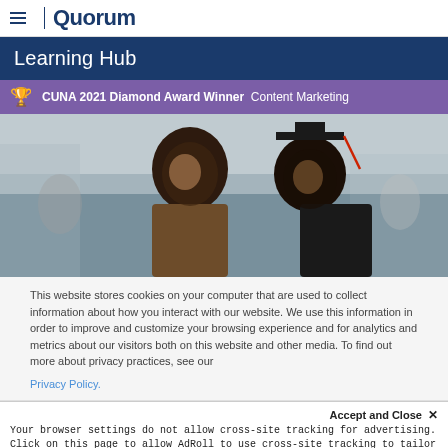Quorum
Learning Hub
CUNA 2021 Diamond Award Winner Content Marketing
[Figure (photo): Two women at a graduation ceremony, one wearing a graduation cap and gown, smiling at each other outdoors.]
This website stores cookies on your computer that are used to collect information about how you interact with our website. We use this information in order to improve and customize your browsing experience and for analytics and metrics about our visitors both on this website and other media. To find out more about privacy practices, see our Privacy Policy.
Accept and Close ✕
Your browser settings do not allow cross-site tracking for advertising. Click on this page to allow AdRoll to use cross-site tracking to tailor ads to you. Learn more or opt out of this AdRoll tracking by clicking here. This message only appears once.